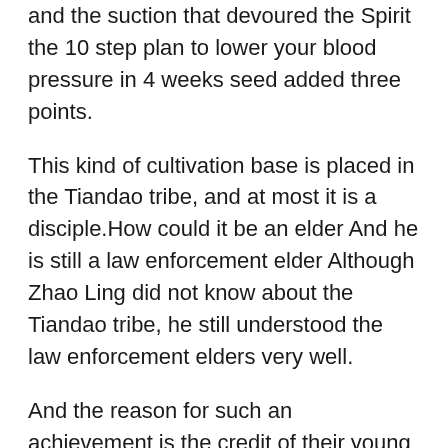and the suction that devoured the Spirit the 10 step plan to lower your blood pressure in 4 weeks seed added three points.
This kind of cultivation base is placed in the Tiandao tribe, and at most it is a disciple.How could it be an elder And he is still a law enforcement elder Although Zhao Ling did not know about the Tiandao tribe, he still understood the law enforcement elders very well.
And the reason for such an achievement is the credit of their young master Zhao Ling.If there was no Zhao Ling, all this would be impossible.It is too early to be happy, the Axe Tribe will not give up so easily.Facing the excitement of the clan, Zhao Ziqiang, who was sitting in the relieve high blood pressure fast first place, said herbs to reduce blood pressure blood pressure high while on medication in a deep blood pressure high while on medication voice.
It is just that, for a long time, there are no resources, so it can